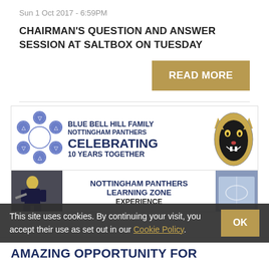Sun 1 Oct 2017 - 6:59PM
CHAIRMAN'S QUESTION AND ANSWER SESSION AT SALTBOX ON TUESDAY
READ MORE
[Figure (infographic): Blue Bell Hill Family Nottingham Panthers Celebrating 10 Years Together banner with hexagon pattern and panther logo, Nottingham Panthers Learning Zone Experience section, and partial 'AMAZING OPPORTUNITY FOR' text at bottom]
This site uses cookies. By continuing your visit, you accept their use as set out in our Cookie Policy.
AMAZING OPPORTUNITY FOR